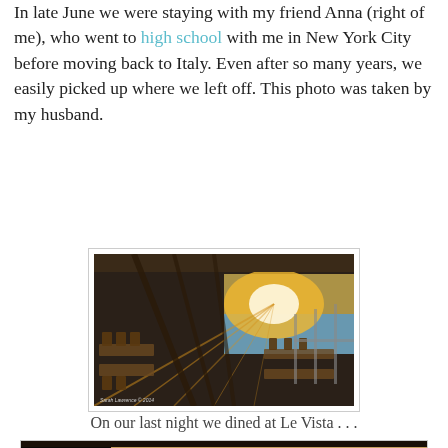In late June we were staying with my friend Anna (right of me), who went to high school with me in New York City before moving back to Italy. Even after so many years, we easily picked up where we left off. This photo was taken by my husband.
[Figure (photo): Interior of Le Vista restaurant with wooden chairs and tables, open-air terrace overlooking the sea at sunset, warm golden light streaming through the structure]
On our last night we dined at Le Vista . . .
[Figure (photo): Partial view of a person's silhouette against a warm sunset sky, cropped at bottom of page]